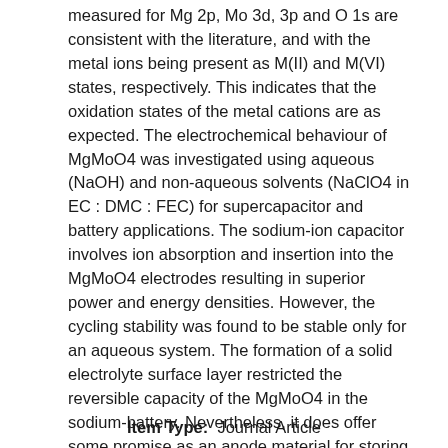measured for Mg 2p, Mo 3d, 3p and O 1s are consistent with the literature, and with the metal ions being present as M(II) and M(VI) states, respectively. This indicates that the oxidation states of the metal cations are as expected. The electrochemical behaviour of MgMoO4 was investigated using aqueous (NaOH) and non-aqueous solvents (NaClO4 in EC : DMC : FEC) for supercapacitor and battery applications. The sodium-ion capacitor involves ion absorption and insertion into the MgMoO4 electrodes resulting in superior power and energy densities. However, the cycling stability was found to be stable only for an aqueous system. The formation of a solid electrolyte surface layer restricted the reversible capacity of the MgMoO4 in the sodium-battery. Nevertheless, it does offer some promise as an anode material for storing energy with high rate performance and excellent capacity retention. Detailed comparative analyses of various electrolytes in storage devices such as hybrid sodium-ion capacitors and sodium-ion batteries are vital for the integration of hierarchical structured materials into practical applications. The reaction mechanisms are postulated.
Item Type:  Journal Article